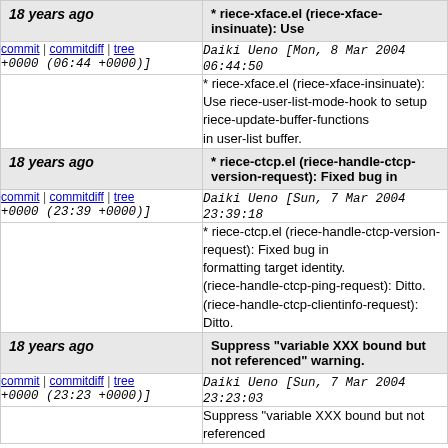18 years ago | * riece-xface.el (riece-xface-insinuate): Use
commit | commitdiff | tree   Daiki Ueno [Mon, 8 Mar 2004 06:44:50 +0000 (06:44 +0000)]
* riece-xface.el (riece-xface-insinuate): Use riece-user-list-mode-hook to setup riece-update-buffer-functions in user-list buffer.
18 years ago | * riece-ctcp.el (riece-handle-ctcp-version-request): Fixed bug in
commit | commitdiff | tree   Daiki Ueno [Sun, 7 Mar 2004 23:39:18 +0000 (23:39 +0000)]
* riece-ctcp.el (riece-handle-ctcp-version-request): Fixed bug in formatting target identity. (riece-handle-ctcp-ping-request): Ditto. (riece-handle-ctcp-clientinfo-request): Ditto.
18 years ago | Suppress "variable XXX bound but not referenced" warning.
commit | commitdiff | tree   Daiki Ueno [Sun, 7 Mar 2004 23:23:03 +0000 (23:23 +0000)]
Suppress "variable XXX bound but not referenced